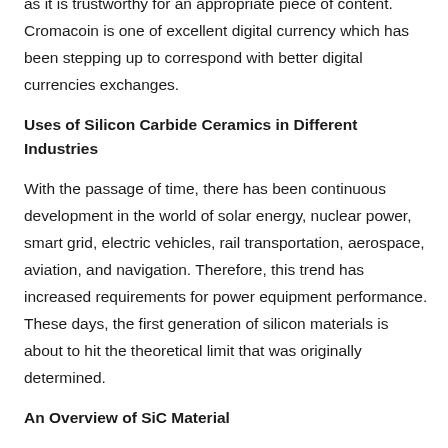as it is trustworthy for an appropriate piece of content. Cromacoin is one of excellent digital currency which has been stepping up to correspond with better digital currencies exchanges.
Uses of Silicon Carbide Ceramics in Different Industries
With the passage of time, there has been continuous development in the world of solar energy, nuclear power, smart grid, electric vehicles, rail transportation, aerospace, aviation, and navigation. Therefore, this trend has increased requirements for power equipment performance. These days, the first generation of silicon materials is about to hit the theoretical limit that was originally determined.
An Overview of SiC Material